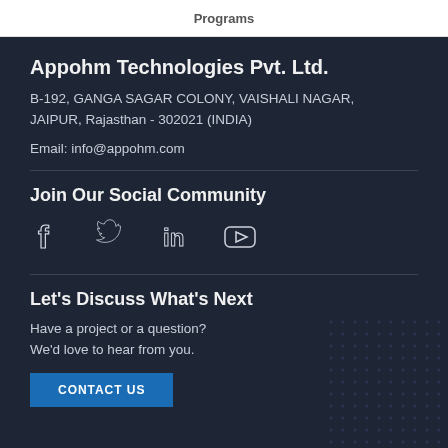Programs
Appohm Technologies Pvt. Ltd.
B-192, GANGA SAGAR COLONY, VAISHALI NAGAR, JAIPUR, Rajasthan - 302021 (INDIA)
Email: info@appohm.com
Join Our Social Community
[Figure (infographic): Social media icons: Facebook, Twitter, LinkedIn, YouTube]
Let's Discuss What's Next
Have a project or a question? We'd love to hear from you.
CONTACT US